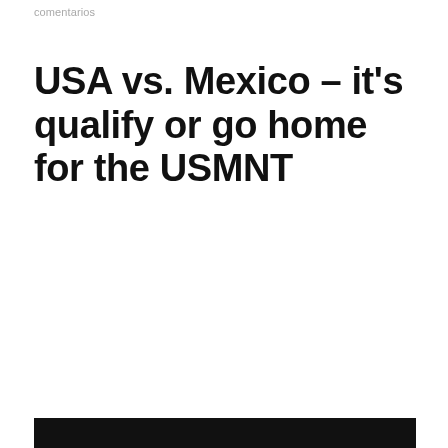comentarios
USA vs. Mexico – it's qualify or go home for the USMNT
[Figure (photo): Black bar at the bottom of the page, likely the top portion of an image or video thumbnail]